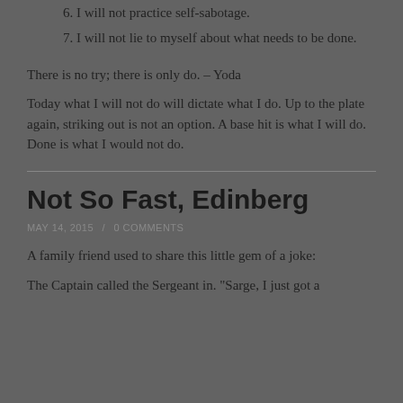6. I will not practice self-sabotage.
7. I will not lie to myself about what needs to be done.
There is no try; there is only do. – Yoda
Today what I will not do will dictate what I do. Up to the plate again, striking out is not an option. A base hit is what I will do. Done is what I would not do.
Not So Fast, Edinberg
MAY 14, 2015 / 0 COMMENTS
A family friend used to share this little gem of a joke:
The Captain called the Sergeant in. "Sarge, I just got a